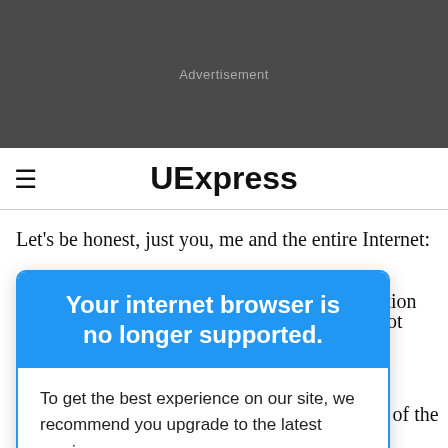[Figure (other): Dark grey advertisement banner area with 'Advertisement' label in grey text]
≡  UExpress
Let's be honest, just you, me and the entire Internet: you really just wanted to get some sort of reaction out ...you got was... ...icator of the ...Anger, hurt, ...have been a ...nstead, he just
Your internet browser is no longer supported.
To get the best experience on our site, we recommend you upgrade to the latest version.